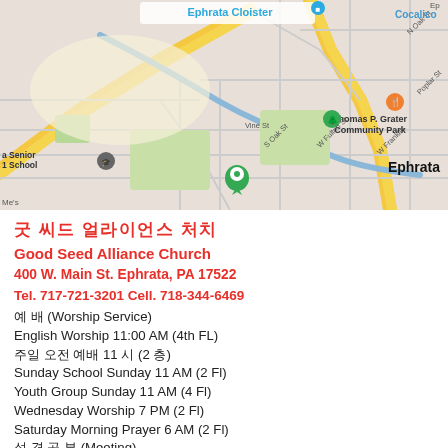[Figure (map): Google Maps screenshot showing area around Good Seed Alliance Church in Ephrata, PA. Visible landmarks: Ephrata Cloister, Thomas P. Grater Community Park, Ephrata Senior High School, streets including W Main St, Vine St, S Oak St, W Fulton St, W Franklin St, Poplar St, Penn Ave, Martin Ave, N Oak St, Terrace Ave. Green map pin visible near church location. Yellow roads, blue waterway, orange restaurant pin visible.]
굿 씨드 얼라이언스 처치
Good Seed Alliance Church
400 W. Main St. Ephrata, PA 17522
Tel. 717-721-3201 Cell. 718-344-6469
예 배 (Worship Service)
English Worship 11:00 AM (4th FL)
주일 오전 예배 11 시 (2 층)
Sunday School Sunday 11 AM (2 Fl)
Youth Group Sunday 11 AM (4 Fl)
Wednesday Worship 7 PM (2 Fl)
Saturday Morning Prayer 6 AM (2 Fl)
성 경 공 부 (Meeting)
EM Bible Study Sunday 12:45 PM
Sunday School Friday 7:30 PM